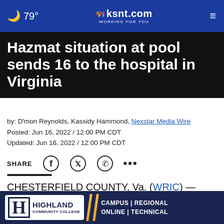79° ksnt.com WORKING FOR YOU
Hazmat situation at pool sends 16 to the hospital in Virginia
by: D'mon Reynolds, Kassidy Hammond, Nexstar Media Wire
Posted: Jun 16, 2022 / 12:00 PM CDT
Updated: Jun 16, 2022 / 12:00 PM CDT
SHARE [social icons]
CHESTERFIELD COUNTY, Va. (WRIC) — More than a dozen people were taken to the hospital after a scary hazmat situation at a pool in Chesterfield County, Virginia.
[Figure (other): Highland Community College advertisement banner - dark navy background with gold H logo, campus/regional/online/technical taglines]